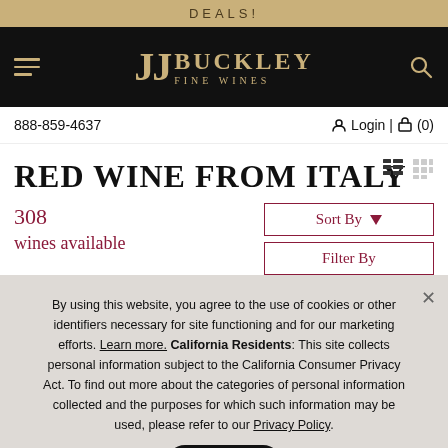DEALS!
[Figure (logo): JJ Buckley Fine Wines logo on black navigation bar with hamburger menu and search icon]
888-859-4637   Login | (0)
RED WINE FROM ITALY
308 wines available
Sort By
Filter By
By using this website, you agree to the use of cookies or other identifiers necessary for site functioning and for our marketing efforts. Learn more. California Residents: This site collects personal information subject to the California Consumer Privacy Act. To find out more about the categories of personal information collected and the purposes for which such information may be used, please refer to our Privacy Policy.
OK